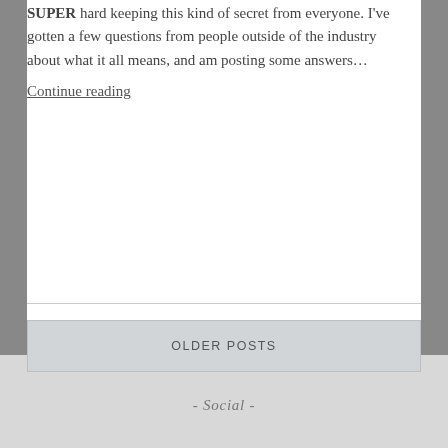SUPER hard keeping this kind of secret from everyone. I've gotten a few questions from people outside of the industry about what it all means, and am posting some answers...
Continue reading
OLDER POSTS
- Social -